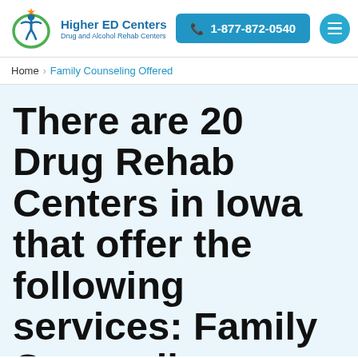Higher ED Centers | Drug and Alcohol Rehab Centers | 1-877-872-0540
Home > Family Counseling Offered
There are 20 Drug Rehab Centers in Iowa that offer the following services: Family Counseling Offered